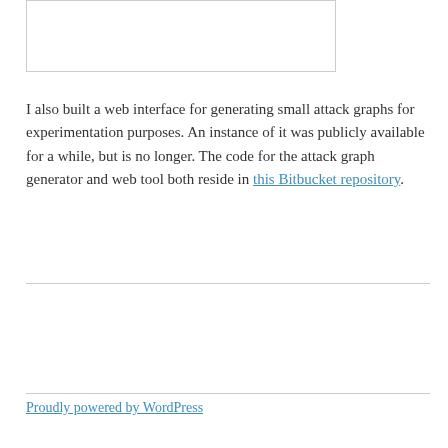[Figure (other): Bordered image/content box at top of page]
I also built a web interface for generating small attack graphs for experimentation purposes. An instance of it was publicly available for a while, but is no longer. The code for the attack graph generator and web tool both reside in this Bitbucket repository.
Proudly powered by WordPress